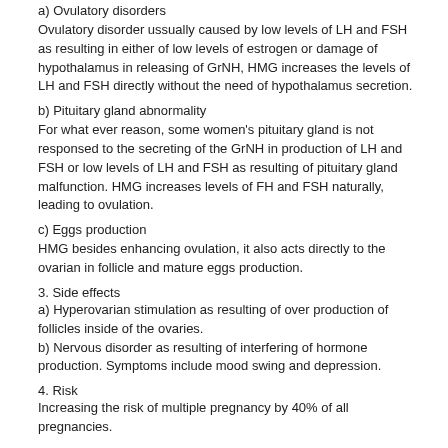a) Ovulatory disorders
Ovulatory disorder ussually caused by low levels of LH and FSH as resulting in either of low levels of estrogen or damage of hypothalamus in releasing of GrNH, HMG increases the levels of LH and FSH directly without the need of hypothalamus secretion.
b) Pituitary gland abnormality
For what ever reason, some women's pituitary gland is not responsed to the secreting of the GrNH in production of LH and FSH or low levels of LH and FSH as resulting of pituitary gland malfunction. HMG increases levels of FH and FSH naturally, leading to ovulation.
c) Eggs production
HMG besides enhancing ovulation, it also acts directly to the ovarian in follicle and mature eggs production.
3. Side effects
a) Hyperovarian stimulation as resulting of over production of follicles inside of the ovaries.
b) Nervous disorder as resulting of interfering of hormone production. Symptoms include mood swing and depression.
4. Risk
Increasing the risk of multiple pregnancy by 40% of all pregnancies.
[Figure (other): Row of social media sharing icon circles separated by dashes: layers/buffer, digg, email, facebook, google+, linkedin, pinterest, print, reddit, stumbleupon; second row: tumblr, twitter, vk, yummly]